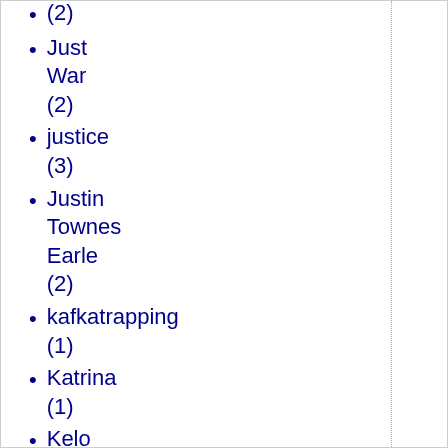(2)
Just War (2)
justice (3)
Justin Townes Earle (2)
kafkatrapping (1)
Katrina (1)
Kelo (1)
Ken Bickford (3)
Kevin James (1)
Keynes (1)
Keynesian economics